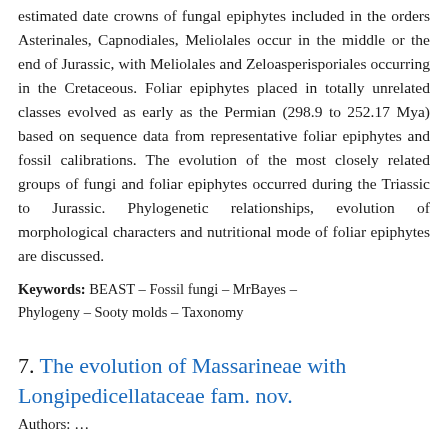estimated date crowns of fungal epiphytes included in the orders Asterinales, Capnodiales, Meliolales occur in the middle or the end of Jurassic, with Meliolales and Zeloasperisporiales occurring in the Cretaceous. Foliar epiphytes placed in totally unrelated classes evolved as early as the Permian (298.9 to 252.17 Mya) based on sequence data from representative foliar epiphytes and fossil calibrations. The evolution of the most closely related groups of fungi and foliar epiphytes occurred during the Triassic to Jurassic. Phylogenetic relationships, evolution of morphological characters and nutritional mode of foliar epiphytes are discussed.
Keywords: BEAST – Fossil fungi – MrBayes – Phylogeny – Sooty molds – Taxonomy
7. The evolution of Massarineae with Longipedicellataceae fam. nov.
Authors: …